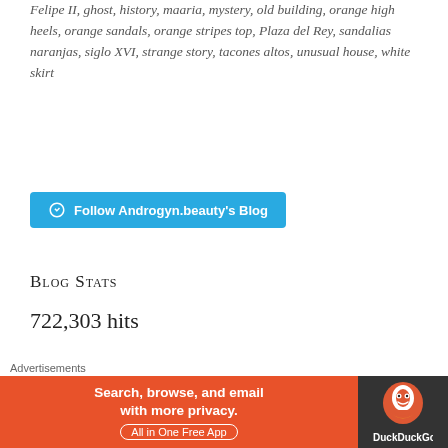Felipe II, ghost, history, maaria, mystery, old building, orange high heels, orange sandals, orange stripes top, Plaza del Rey, sandalias naranjas, siglo XVI, strange story, tacones altos, unusual house, white skirt
[Figure (other): Follow Androgyn.beauty's Blog button in teal/blue color with WordPress logo]
Blog Stats
722,303 hits
Create a free website or blog at WordPress...
Advertisements
[Figure (other): DuckDuckGo advertisement banner: Search, browse, and email with more privacy. All in One Free App]